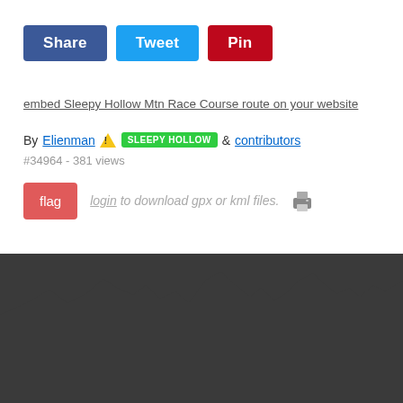[Figure (screenshot): Share, Tweet, and Pin social sharing buttons]
embed Sleepy Hollow Mtn Race Course route on your website
By Elienman ⚠ SLEEPY HOLLOW & contributors
#34964 - 381 views
flag  login to download gpx or kml files.
[Figure (illustration): Dark mountain silhouette background]
About
Apps
Mobile Site
Associations
Contact
Blog
Tools
Forum
Privacy
Widgets
Garmin
Help
Sign Up!
Sitemap
Pro